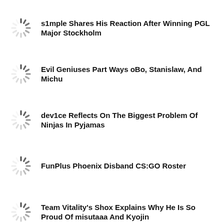s1mple Shares His Reaction After Winning PGL Major Stockholm
Evil Geniuses Part Ways oBo, Stanislaw, And Michu
dev1ce Reflects On The Biggest Problem Of Ninjas In Pyjamas
FunPlus Phoenix Disband CS:GO Roster
Team Vitality's Shox Explains Why He Is So Proud Of misutaaa And Kyojin